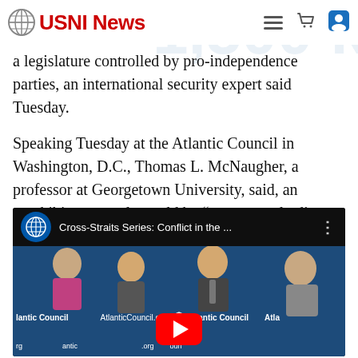USNI News
a legislature controlled by pro-independence parties, an international security expert said Tuesday.
Speaking Tuesday at the Atlantic Council in Washington, D.C., Thomas L. McNaugher, a professor at Georgetown University, said, an amphibious assault would be “an extremely dicey operation” for a military still dominated by its army and having no recent experience in that kind of warfare.
[Figure (screenshot): YouTube video thumbnail showing a panel discussion titled 'Cross-Straits Series: Conflict in the ...' at the Atlantic Council. Four panelists are seated at a table with Atlantic Council branding. A YouTube play button is overlaid on the video.]